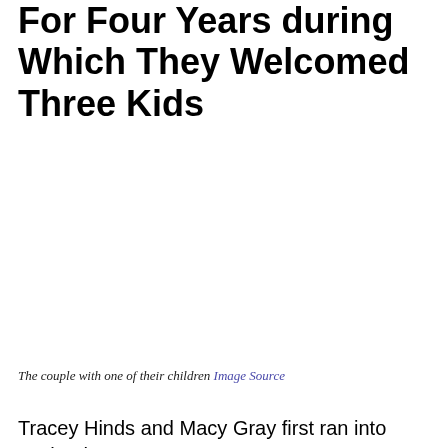For Four Years during Which They Welcomed Three Kids
The couple with one of their children Image Source
Tracey Hinds and Macy Gray first ran into each other